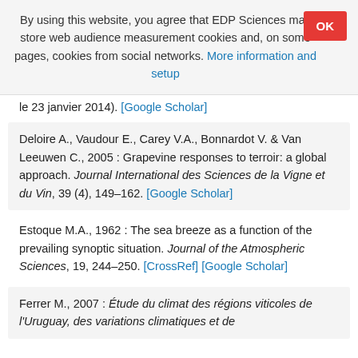By using this website, you agree that EDP Sciences may store web audience measurement cookies and, on some pages, cookies from social networks. More information and setup
le 23 janvier 2014). [Google Scholar]
Deloire A., Vaudour E., Carey V.A., Bonnardot V. & Van Leeuwen C., 2005 : Grapevine responses to terroir: a global approach. Journal International des Sciences de la Vigne et du Vin, 39 (4), 149–162. [Google Scholar]
Estoque M.A., 1962 : The sea breeze as a function of the prevailing synoptic situation. Journal of the Atmospheric Sciences, 19, 244–250. [CrossRef] [Google Scholar]
Ferrer M., 2007 : Étude du climat des régions viticoles de l'Uruguay, des variations climatiques et de